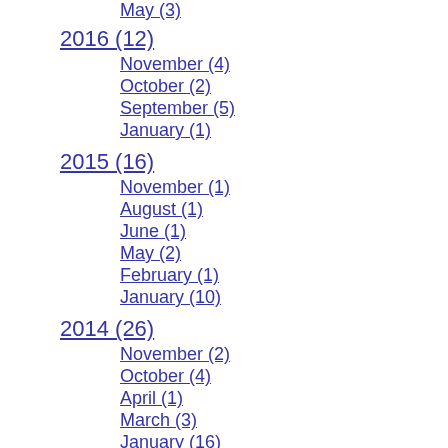May (3)
2016 (12)
November (4)
October (2)
September (5)
January (1)
2015 (16)
November (1)
August (1)
June (1)
May (2)
February (1)
January (10)
2014 (26)
November (2)
October (4)
April (1)
March (3)
January (16)
2013 (70)
December (4)
October (1)
August (2)
July (3)
June (2)
April (3)
March (2)
February (7)
January (46)
2012 (57)
October (14)
September (4)